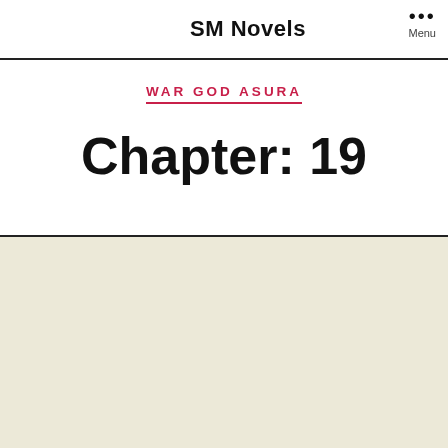SM Novels
WAR GOD ASURA
Chapter: 19